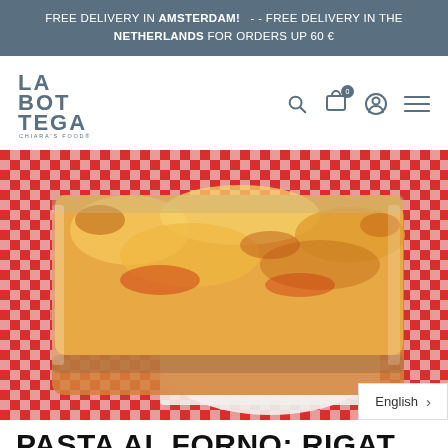FREE DELIVERY IN AMSTERDAM!  - - FREE DELIVERY IN THE NETHERLANDS FOR ORDERS UP 60 €
[Figure (logo): La Bottega Chiara's Food logo in slate blue/grey color]
[Figure (photo): Pasta al forno / rigatoni baked pasta in a glass dish on red checkered tablecloth]
PASTA AL FORNO: RIGAT